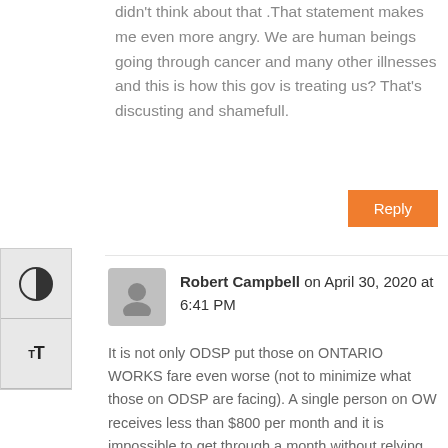didn't think about that .That statement makes me even more angry. We are human beings going through cancer and many other illnesses and this is how this gov is treating us? That's discusting and shamefull.
Reply
Robert Campbell on April 30, 2020 at 6:41 PM
It is not only ODSP put those on ONTARIO WORKS fare even worse (not to minimize what those on ODSP are facing). A single person on OW receives less than $800 per month and it is impossible to get through a month without relying on community food programs.
Now with access to part-time or odd jobs